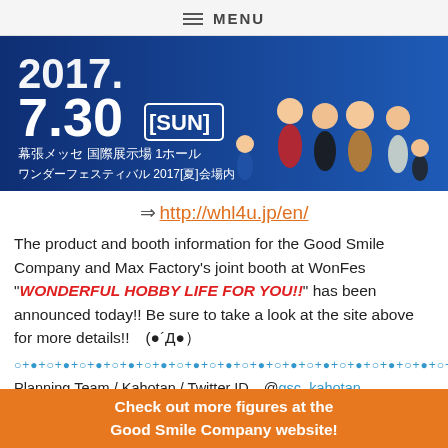MENU
[Figure (photo): Banner image for WonderFestival 2017 Summer event on 7.30 [SUN] at Makuhari Messe, featuring anime figures including Nendoroids. Japanese text: 幕張メッセ 国際展示場 1ホール ワンダーフェスティバル 2017[夏]会場内]
⇒ http://whl4u.jp/en/
The product and booth information for the Good Smile Company and Max Factory's joint booth at WonFes "WONDERFUL HOBBY LIFE FOR YOU!!" has been announced today!! Be sure to take a look at the site above for more details!!　(●´Д●）
○+●+○+●+○+●+○+●+○+●+○+●+○+●+○+●+○+●+○+●+○+●+○+●+○+●+○+●+○+
Planning Team / Kahotan / Twitter ID　@gsc_kahotan
English Updates: @gsc_kevin
Check out more figures at the Good Smile Company website!